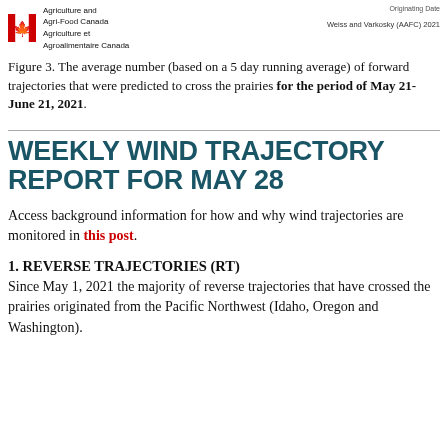Originating Date | Agriculture and Agri-Food Canada | Agriculture et Agroalimentaire Canada | Weiss and Varkosky (AAFC) 2021
Figure 3. The average number (based on a 5 day running average) of forward trajectories that were predicted to cross the prairies for the period of May 21-June 21, 2021.
WEEKLY WIND TRAJECTORY REPORT FOR MAY 28
Access background information for how and why wind trajectories are monitored in this post.
1. REVERSE TRAJECTORIES (RT)
Since May 1, 2021 the majority of reverse trajectories that have crossed the prairies originated from the Pacific Northwest (Idaho, Oregon and Washington).